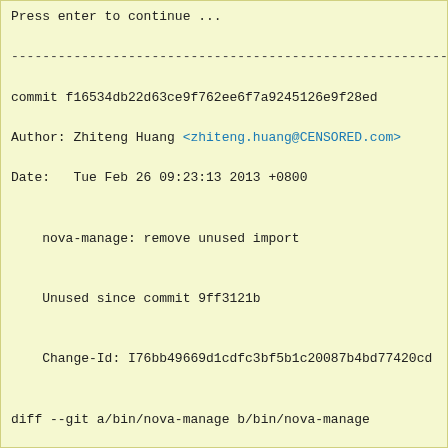Press enter to continue ...
------------------------------------------------------------------------
commit f16534db22d63ce9f762ee6f7a9245126e9f28ed
Author: Zhiteng Huang <zhiteng.huang@CENSORED.com>
Date:   Tue Feb 26 09:23:13 2013 +0800
nova-manage: remove unused import
Unused since commit 9ff3121b
Change-Id: I76bb49669d1cdfc3bf5b1c20087b4bd77420cd
diff --git a/bin/nova-manage b/bin/nova-manage
index 4919d88..e93c3d8 100755
--- a/bin/nova-manage